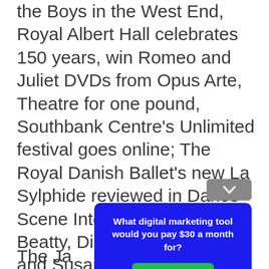the Boys in the West End, Royal Albert Hall celebrates 150 years, win Romeo and Juliet DVDs from Opus Arte, Theatre for one pound, Southbank Centre's Unlimited festival goes online; The Royal Danish Ballet's new La Sylphide reviewed in Dance Scene International; Patricia Beatty, Diana Payne-Myers and Susan Robinson remembered in Obituaries; new books, CDs, DVDs and dance products; Prix de Lausanne moves online, Royal Academy of Dance discovers footage of Margot Fonteyn, Elmhurst audition applications move online; calenda...k and abroad...
The Ja...